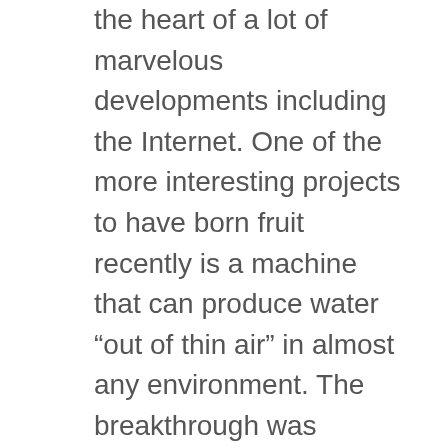the heart of a lot of marvelous developments including the Internet. One of the more interesting projects to have born fruit recently is a machine that can produce water “out of thin air” in almost any environment. The breakthrough was reported on in an article by Audrey Hudson in Wired [“Making Water from Thin Air,” 06 Oct 2006].
“ The water-harvesting technology was originally the brainchild of the Pentagon’s Defense Advanced Research Projects Agency, which